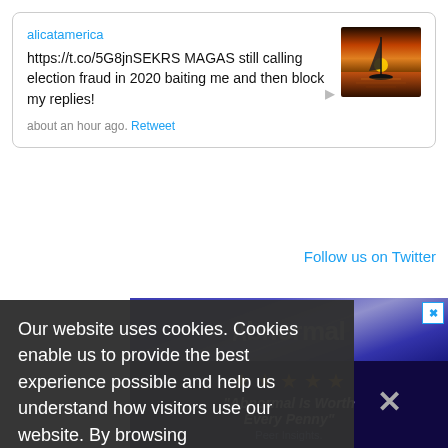alicatamerica
https://t.co/5G8jnSEKRS MAGAS still calling election fraud in 2020 baiting me and then block my replies!
about an hour ago. Retweet
[Figure (photo): Thumbnail image of a sailboat silhouette at sunset with orange sky reflected on water]
Follow us on Twitter
[Figure (screenshot): Abnormal Security advertisement with logo, star rating, quote 'Abnormal Is Worth Every Penny', Peer Insights label, and 'See the Abnormal Difference!' button]
Our website uses cookies. Cookies enable us to provide the best experience possible and help us understand how visitors use our website. By browsing ransomware.databreachtoday.com, you agree to our use of cookies.